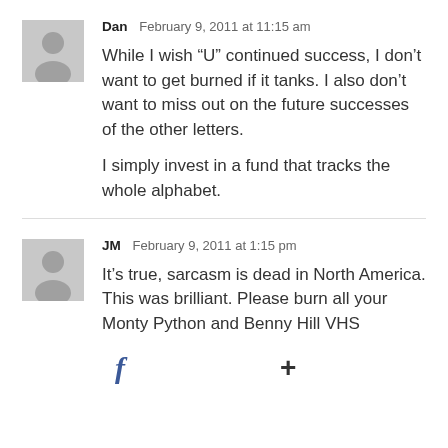Dan  February 9, 2011 at 11:15 am
While I wish “U” continued success, I don’t want to get burned if it tanks. I also don’t want to miss out on the future successes of the other letters.

I simply invest in a fund that tracks the whole alphabet.
JM  February 9, 2011 at 1:15 pm
It’s true, sarcasm is dead in North America. This was brilliant. Please burn all your Monty Python and Benny Hill VHS